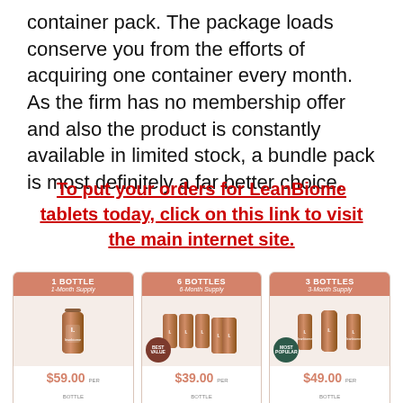container pack. The package loads conserve you from the efforts of acquiring one container every month. As the firm has no membership offer and also the product is constantly available in limited stock, a bundle pack is most definitely a far better choice.
To put your orders for LeanBiome tablets today, click on this link to visit the main internet site.
[Figure (infographic): Product pricing cards showing 3 options: 1 Bottle (1-Month Supply) at $59.00/bottle, 6 Bottles (6-Month Supply) at $39.00/bottle with Best Value badge, and 3 Bottles (3-Month Supply) at $49.00/bottle with Most Popular badge. Each card has an Add to Cart button.]